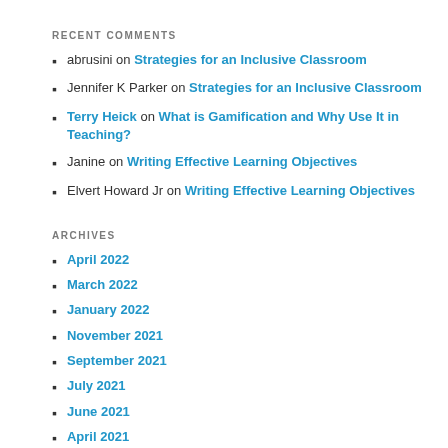RECENT COMMENTS
abrusini on Strategies for an Inclusive Classroom
Jennifer K Parker on Strategies for an Inclusive Classroom
Terry Heick on What is Gamification and Why Use It in Teaching?
Janine on Writing Effective Learning Objectives
Elvert Howard Jr on Writing Effective Learning Objectives
ARCHIVES
April 2022
March 2022
January 2022
November 2021
September 2021
July 2021
June 2021
April 2021
March 2021